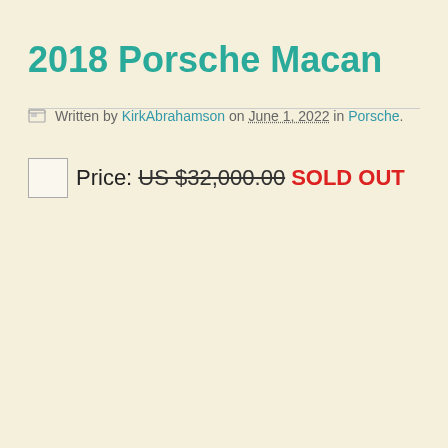2018 Porsche Macan
Written by KirkAbrahamson on June 1, 2022 in Porsche.
Price: US $32,000.00 SOLD OUT